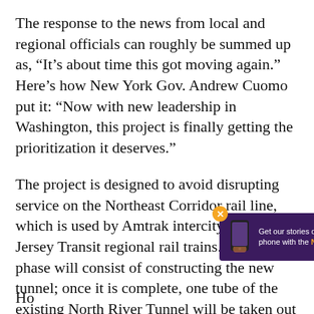The response to the news from local and regional officials can roughly be summed up as, “It’s about time this got moving again.” Here’s how New York Gov. Andrew Cuomo put it: “Now with new leadership in Washington, this project is finally getting the prioritization it deserves.”
The project is designed to avoid disrupting service on the Northeast Corridor rail line, which is used by Amtrak intercity and New Jersey Transit regional rail trains. The first phase will consist of constructing the new tunnel; once it is complete, one tube of the existing North River Tunnel will be taken out of service for about a year for reconstruction.
[Figure (screenshot): Advertisement banner with purple background showing a phone icon and text: 'Get our stories delivered directly to your phone with the NEW Next City app!' with an orange close button.]
Ho...